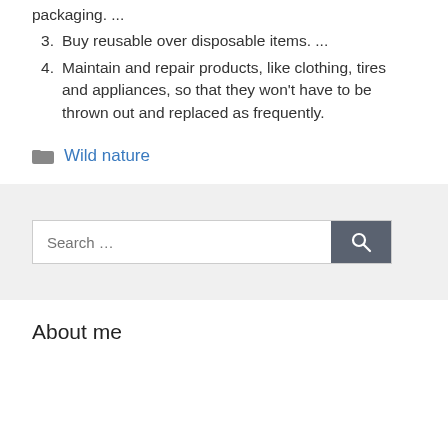packaging. ...
3. Buy reusable over disposable items. ...
4. Maintain and repair products, like clothing, tires and appliances, so that they won't have to be thrown out and replaced as frequently.
Wild nature
[Figure (other): Search bar with text input and search button icon]
About me